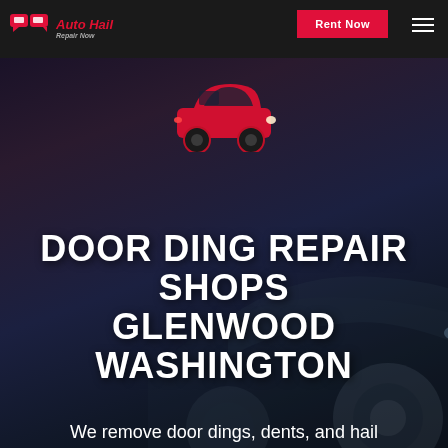Auto Hail Repair Now — Rent Now
[Figure (illustration): Red car icon silhouette centered above the main title text]
DOOR DING REPAIR SHOPS GLENWOOD WASHINGTON
We remove door dings, dents, and hail